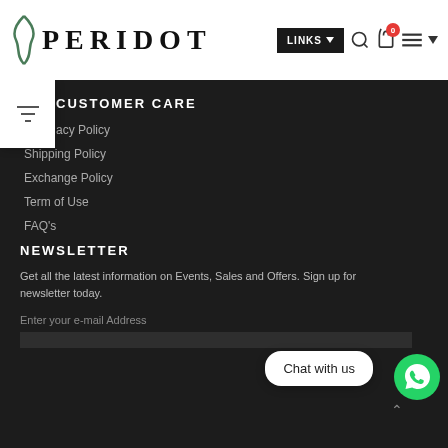PERIDOT — LINKS, search, cart, menu
CUSTOMER CARE
acy Policy
Shipping Policy
Exchange Policy
Term of Use
FAQ's
NEWSLETTER
Get all the latest information on Events, Sales and Offers. Sign up for newsletter today.
Enter your e-mail Address